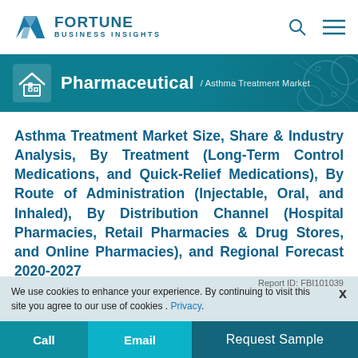FORTUNE BUSINESS INSIGHTS
Pharmaceutical / Asthma Treatment Market
Asthma Treatment Market Size, Share & Industry Analysis, By Treatment (Long-Term Control Medications, and Quick-Relief Medications), By Route of Administration (Injectable, Oral, and Inhaled), By Distribution Channel (Hospital Pharmacies, Retail Pharmacies & Drug Stores, and Online Pharmacies), and Regional Forecast 2020-2027
We use cookies to enhance your experience. By continuing to visit this site you agree to our use of cookies . Privacy.
Report ID: FBI101039
Call | Email | Request Sample